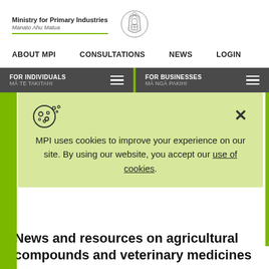Ministry for Primary Industries Manato Ahu Matua
ABOUT MPI
CONSULTATIONS
NEWS
LOGIN
FOR INDIVIDUALS MĀ TE TAKITAHI
FOR BUSINESSES MĀ NGĀ PAKIHI
MPI uses cookies to improve your experience on our site. By using our website, you accept our use of cookies.
News and resources on agricultural compounds and veterinary medicines